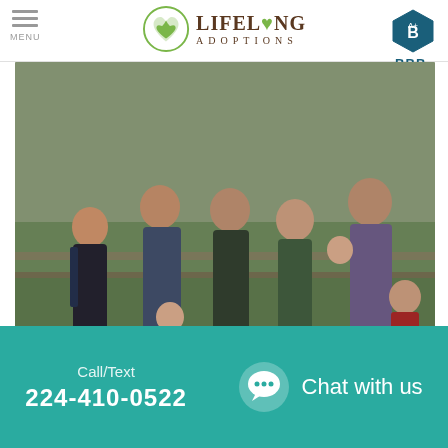MENU | Lifelong Adoptions | BBB A+
[Figure (photo): Group family photo of 8 adults and 2 children standing outdoors near a fence with green grass background]
Our Extended Family
We have an extended family that...
Call/Text 224-410-0522
Chat with us